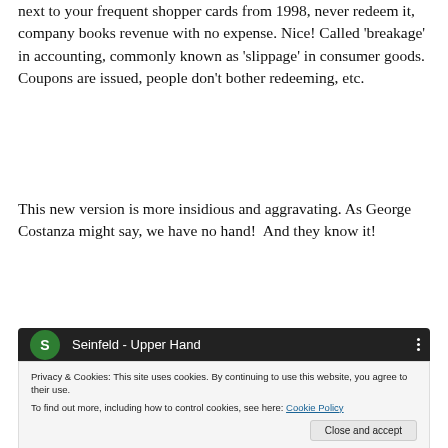next to your frequent shopper cards from 1998, never redeem it, company books revenue with no expense. Nice! Called 'breakage' in accounting, commonly known as 'slippage' in consumer goods.  Coupons are issued, people don't bother redeeming, etc.
This new version is more insidious and aggravating. As George Costanza might say, we have no hand!  And they know it!
[Figure (screenshot): Video thumbnail for 'Seinfeld - Upper Hand' with green avatar circle showing letter S, on dark background with blurred figure]
Privacy & Cookies: This site uses cookies. By continuing to use this website, you agree to their use.
To find out more, including how to control cookies, see here: Cookie Policy